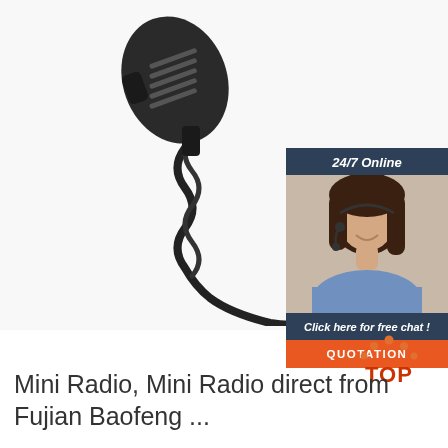[Figure (photo): A black handheld speaker/microphone with coiled cable and two-pin connector, on white background. Overlaid with a '24/7 Online' customer service chat widget showing a woman with a headset, 'Click here for free chat!' text, and an orange 'QUOTATION' button.]
[Figure (logo): TOP logo — orange arch of dots above the word TOP in orange/red letters]
Mini Radio, Mini Radio direct from Fujian Baofeng ...